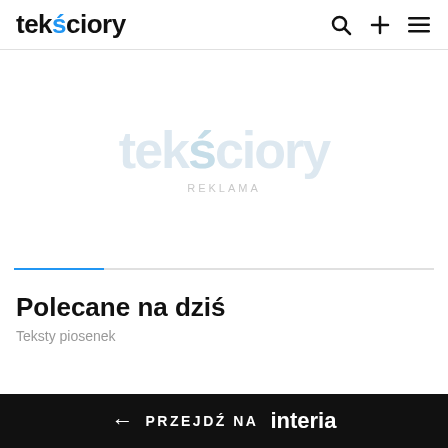tekściory
[Figure (other): Advertisement placeholder area with faded tekściory watermark logo and REKLAMA label]
Polecane na dziś
Teksty piosenek
← PRZEJDŹ NA interia